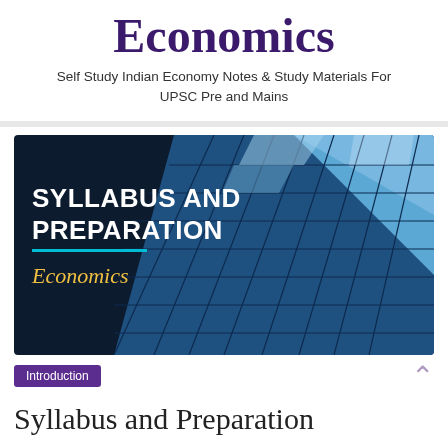Economics
Self Study Indian Economy Notes & Study Materials For UPSC Pre and Mains
[Figure (illustration): Dark blue promotional banner with text 'SYLLABUS AND PREPARATION' in white bold uppercase letters, a teal horizontal line, 'Economics' in yellow italic text below, overlaid on a glass skyscraper building photograph viewed from below against blue sky.]
Introduction
Syllabus and Preparation